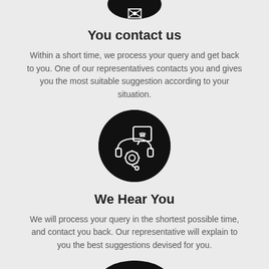[Figure (illustration): Black circle with white customer contact icon (partial, cropped at top)]
You contact us
Within a short time, we process your query and get back to you. One of our representatives contacts you and gives you the most suitable suggestion according to your situation.
[Figure (illustration): Black circle with white customer support / headset and gear icon]
We Hear You
We will process your query in the shortest possible time, and contact you back. Our representative will explain to you the best suggestions devised for you.
[Figure (illustration): Black circle with white checkmark icon (partially cropped at bottom)]